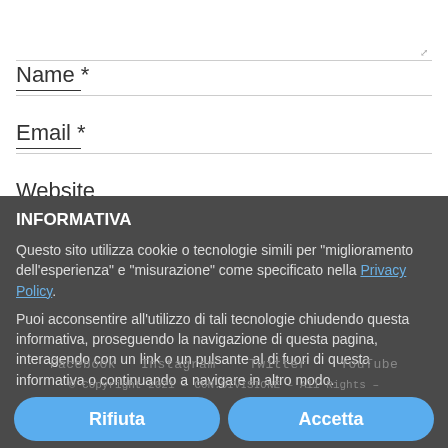Name *
Email *
Website
INFORMATIVA
Questo sito utilizza cookie o tecnologie simili per "miglioramento dell'esperienza" e "misurazione" come specificato nella Privacy Policy.
Puoi acconsentire all'utilizzo di tali tecnologie chiudendo questa informativa, proseguendo la navigazione di questa pagina, interagendo con un link o un pulsante al di fuori di questa informativa o continuando a navigare in altro modo.
Facebook   Instagram   Twitter   YouTube
© Copyright 2021 – CON.DIVISIONE – All Rights Reserved – Privacy Policy
Rifiuta
Accetta